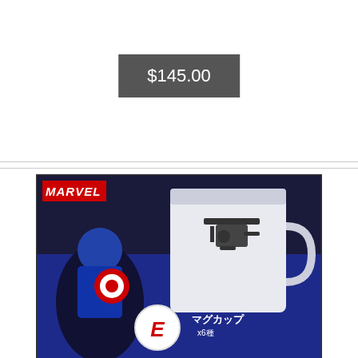$145.00
[Figure (photo): Marvel Sunny Side Up Happy Lottery Civil War E-Prize Mug Cup product packaging showing a white mug with a helicopter silhouette, Captain America figure, red circle with letter E, and Japanese text マグカップ, on a blue background with Marvel logo]
SUNNY SIDE UP HAPPY LOTTERY CIVIL WAR E-PRIZE MUG CUP CAPTAIN AMELIA